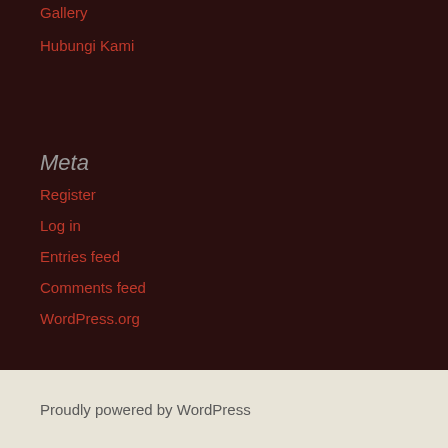Gallery
Hubungi Kami
Meta
Register
Log in
Entries feed
Comments feed
WordPress.org
Proudly powered by WordPress